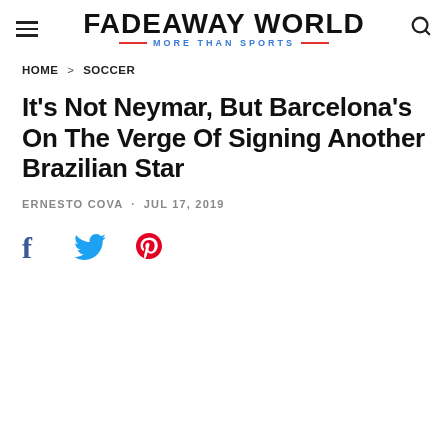FADEAWAY WORLD · MORE THAN SPORTS
HOME > SOCCER
It's Not Neymar, But Barcelona's On The Verge Of Signing Another Brazilian Star
ERNESTO COVA · JUL 17, 2019
[Figure (other): Social share icons: Facebook, Twitter, Pinterest]